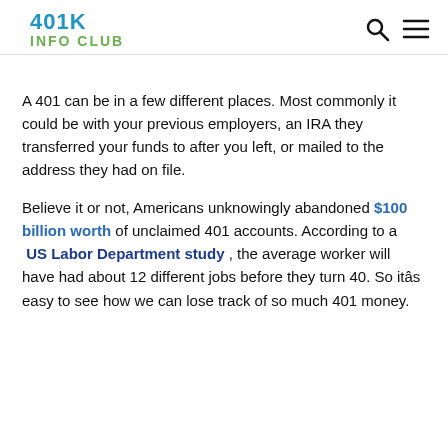401K INFO CLUB
A 401 can be in a few different places. Most commonly it could be with your previous employers, an IRA they transferred your funds to after you left, or mailed to the address they had on file.
Believe it or not, Americans unknowingly abandoned $100 billion worth of unclaimed 401 accounts. According to a US Labor Department study , the average worker will have had about 12 different jobs before they turn 40. So itâs easy to see how we can lose track of so much 401 money.